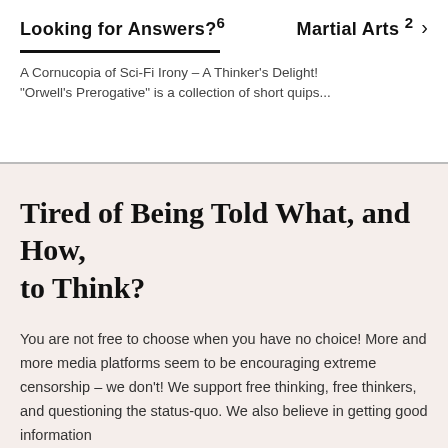Looking for Answers? 6    Martial Arts 2  >
A Cornucopia of Sci-Fi Irony – A Thinker's Delight!
"Orwell's Prerogative" is a collection of short quips...
Tired of Being Told What, and How, to Think?
You are not free to choose when you have no choice! More and more media platforms seem to be encouraging extreme censorship – we don't! We support free thinking, free thinkers, and questioning the status-quo. We also believe in getting good information